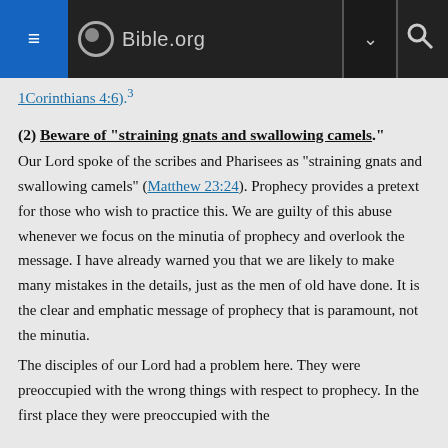Bible.org
1Corinthians 4:6).3
(2) Beware of "straining gnats and swallowing camels."
Our Lord spoke of the scribes and Pharisees as "straining gnats and swallowing camels" (Matthew 23:24). Prophecy provides a pretext for those who wish to practice this. We are guilty of this abuse whenever we focus on the minutia of prophecy and overlook the message. I have already warned you that we are likely to make many mistakes in the details, just as the men of old have done. It is the clear and emphatic message of prophecy that is paramount, not the minutia.
The disciples of our Lord had a problem here. They were preoccupied with the wrong things with respect to prophecy. In the first place they were preoccupied with the